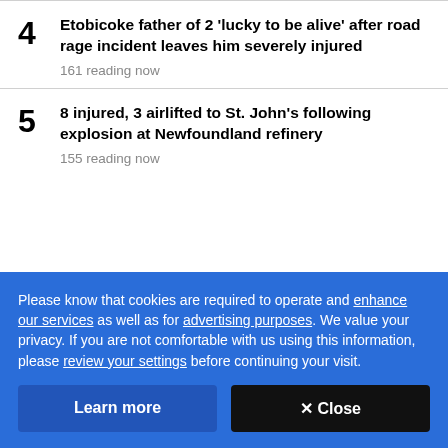4 Etobicoke father of 2 'lucky to be alive' after road rage incident leaves him severely injured — 161 reading now
5 8 injured, 3 airlifted to St. John's following explosion at Newfoundland refinery — 155 reading now
Please know that cookies are required to operate and enhance our services as well as for advertising purposes. We value your privacy. If you are not comfortable with us using this information, please review your settings before continuing your visit.